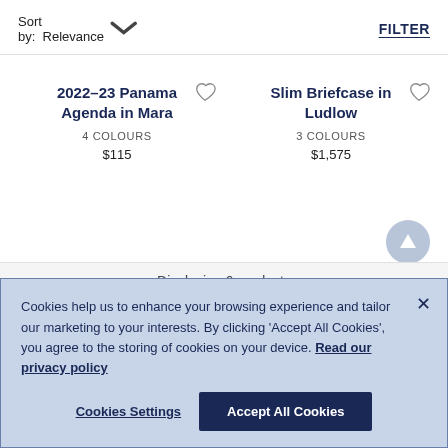Sort by: Relevance
FILTER
2022–23 Panama Agenda in Mara
4 COLOURS
$115
Slim Briefcase in Ludlow
3 COLOURS
$1,575
Displaying 6 products
Cookies help us to enhance your browsing experience and tailor our marketing to your interests. By clicking 'Accept All Cookies', you agree to the storing of cookies on your device. Read our privacy policy
Cookies Settings
Accept All Cookies